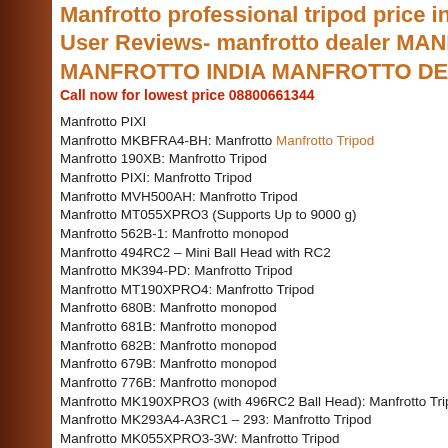Manfrotto professional tripod price in India- User Reviews- manfrotto dealer MANFROTTO INDIA MANFROTTO DEALER
Call now for lowest price 08800661344
Manfrotto PIXI
Manfrotto MKBFRA4-BH: Manfrotto Manfrotto Tripod
Manfrotto 190XB: Manfrotto Tripod
Manfrotto PIXI: Manfrotto Tripod
Manfrotto MVH500AH: Manfrotto Tripod
Manfrotto MT055XPRO3 (Supports Up to 9000 g)
Manfrotto 562B-1: Manfrotto monopod
Manfrotto 494RC2 – Mini Ball Head with RC2
Manfrotto MK394-PD: Manfrotto Tripod
Manfrotto MT190XPRO4: Manfrotto Tripod
Manfrotto 680B: Manfrotto monopod
Manfrotto 681B: Manfrotto monopod
Manfrotto 682B: Manfrotto monopod
Manfrotto 679B: Manfrotto monopod
Manfrotto 776B: Manfrotto monopod
Manfrotto MK190XPRO3 (with 496RC2 Ball Head): Manfrotto Tripod
Manfrotto MK293A4-A3RC1 – 293: Manfrotto Tripod
Manfrotto MK055XPRO3-3W: Manfrotto Tripod
Manfrotto MH055M8-Q5 – 055 Magnesium Photo Movie Head with...